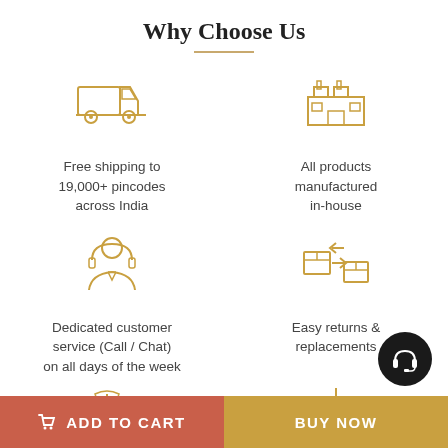Why Choose Us
[Figure (infographic): Delivery truck icon in golden/tan outline style]
Free shipping to 19,000+ pincodes across India
[Figure (infographic): Factory/warehouse building icon in golden/tan outline style]
All products manufactured in-house
[Figure (infographic): Customer service agent/headset person icon in golden/tan outline style]
Dedicated customer service (Call / Chat) on all days of the week
[Figure (infographic): Easy returns boxes/exchange icon in golden/tan outline style]
Easy returns & replacements
[Figure (infographic): Floor lamp with wrench icon in golden/tan outline style (partially visible)]
[Figure (infographic): Chandelier icon in golden/tan outline style (partially visible)]
[Figure (illustration): Black circular badge with white headset/customer support icon]
ADD TO CART
BUY NOW